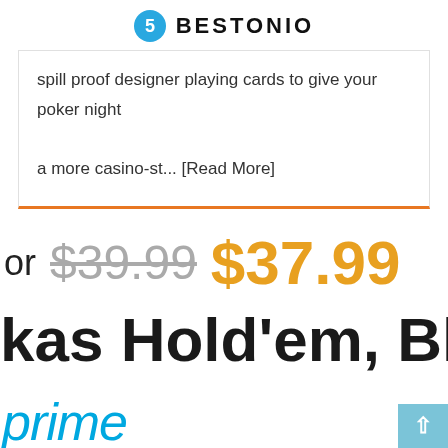BESTONIO
spill proof designer playing cards to give your poker night a more casino-st... [Read More]
or $39.99 $37.99
kas Hold'em, Blac
prime